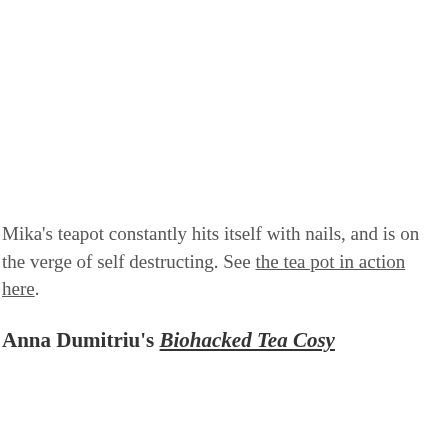Mika's teapot constantly hits itself with nails, and is on the verge of self destructing. See the tea pot in action here.
Anna Dumitriu's Biohacked Tea Cosy